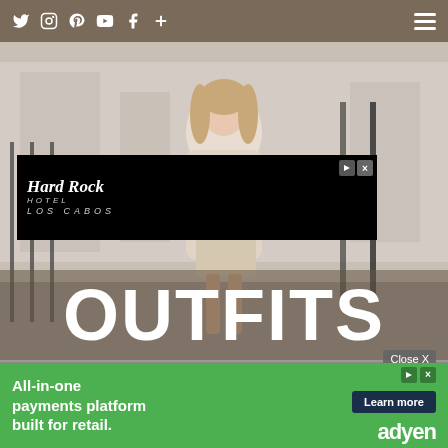Twitter Instagram Pinterest YouTube Facebook + [menu]
[Figure (photo): Woman in beige fur coat and brown belt walking on a cobblestone street in a city, street style fashion photo]
[Figure (other): Hard Rock Hotel Los Cabos advertisement banner — black background with Hard Rock Hotel logo and LOS CABOS text]
OUTFITS
Close X
[Figure (other): Adyen advertisement — green background: 'All-in-one payments platform built for retail.' with Learn more button and adyen logo]